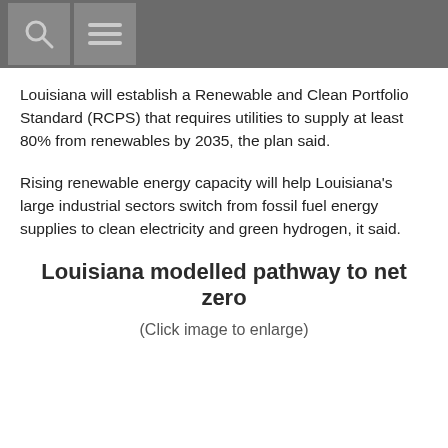[search icon] [menu icon]
Louisiana will establish a Renewable and Clean Portfolio Standard (RCPS) that requires utilities to supply at least 80% from renewables by 2035, the plan said.
Rising renewable energy capacity will help Louisiana's large industrial sectors switch from fossil fuel energy supplies to clean electricity and green hydrogen, it said.
Louisiana modelled pathway to net zero
(Click image to enlarge)